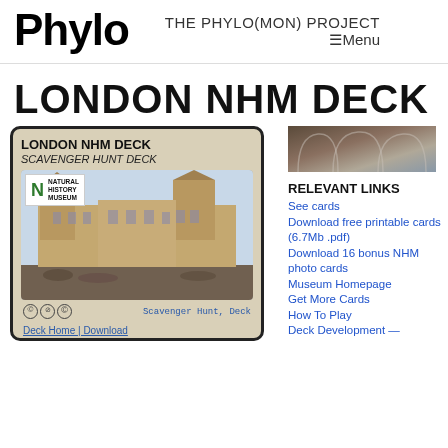Phylo — THE PHYLO(MON) PROJECT ☰Menu
LONDON NHM DECK
[Figure (screenshot): Card box showing LONDON NHM DECK / SCAVENGER HUNT DECK with Natural History Museum logo and a watercolor illustration of the NHM building exterior, plus Creative Commons icons and tags 'Scavenger Hunt, Deck', and links 'Deck Home | Download']
[Figure (photo): Photo of the interior of the Natural History Museum London showing ornate arched ceiling and columns]
RELEVANT LINKS
See cards
Download free printable cards (6.7Mb .pdf)
Download 16 bonus NHM photo cards
Museum Homepage
Get More Cards
How To Play
Deck Development —